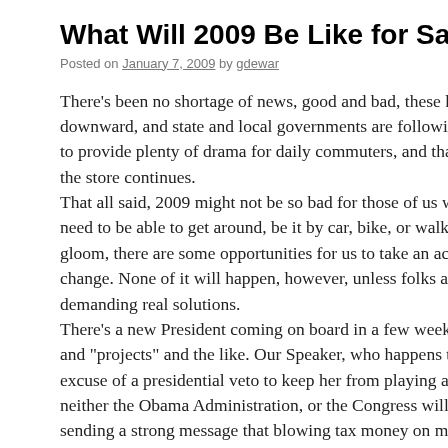What Will 2009 Be Like for San Francisca…
Posted on January 7, 2009 by gdewar
There's been no shortage of news, good and bad, these last few downward, and state and local governments are following down to provide plenty of drama for daily commuters, and that sense the store continues. That all said, 2009 might not be so bad for those of us who rely need to be able to get around, be it by car, bike, or walking. Tha gloom, there are some opportunities for us to take an active role change. None of it will happen, however, unless folks are willin demanding real solutions. There's a new President coming on board in a few weeks, and th and "projects" and the like. Our Speaker, who happens to hail fr excuse of a presidential veto to keep her from playing a real role neither the Obama Administration, or the Congress will do anyt sending a strong message that blowing tax money on make-wor Only by investing wisely in projects that will have a long term b